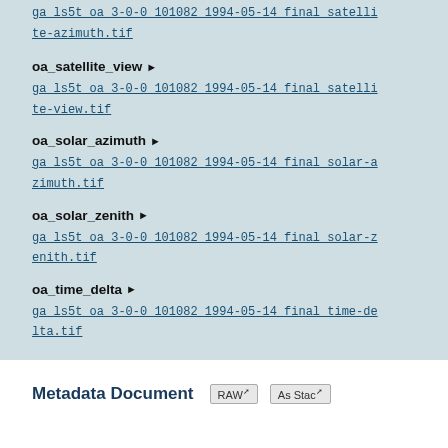ga ls5t oa 3-0-0 101082 1994-05-14 final satellite-azimuth.tif
oa_satellite_view
ga ls5t oa 3-0-0 101082 1994-05-14 final satellite-view.tif
oa_solar_azimuth
ga ls5t oa 3-0-0 101082 1994-05-14 final solar-azimuth.tif
oa_solar_zenith
ga ls5t oa 3-0-0 101082 1994-05-14 final solar-zenith.tif
oa_time_delta
ga ls5t oa 3-0-0 101082 1994-05-14 final time-delta.tif
Metadata Document